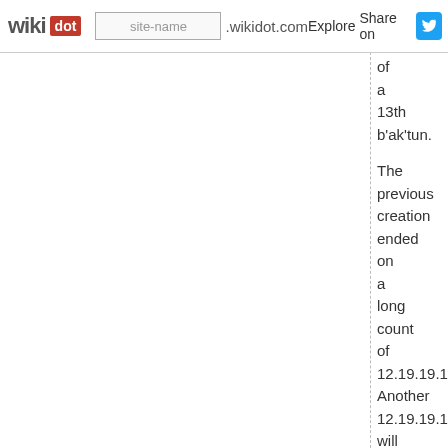wikidot | site-name .wikidot.com | Explore | Share on [twitter]
of a 13th b'ak'tun. The previous creation ended on a long count of 12.19.19.17.19 Another 12.19.19.17.19 will occur on December 20, 2012, followed